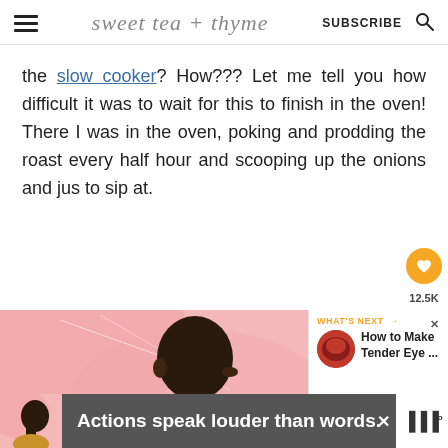sweet tea + thyme  SUBSCRIBE
the slow cooker? How??? Let me tell you how difficult it was to wait for this to finish in the oven! There I was in the oven, poking and prodding the roast every half hour and scooping up the onions and jus to sip at.
[Figure (illustration): Advertisement showing an illustrated profile of a person with dark skin and short hair against a pink swirling background, with a close X button in the upper right.]
[Figure (photo): What's Next panel showing a thumbnail of food (Tender Eye ...) with label 'WHAT'S NEXT → How to Make Tender Eye ...']
[Figure (illustration): Bottom banner advertisement with same illustration, text 'Actions speak louder than words.' and a logo on the right.]